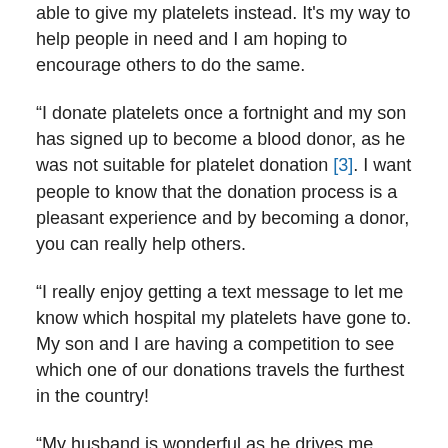able to give my platelets instead. It's my way to help people in need and I am hoping to encourage others to do the same.
“I donate platelets once a fortnight and my son has signed up to become a blood donor, as he was not suitable for platelet donation [3]. I want people to know that the donation process is a pleasant experience and by becoming a donor, you can really help others.
“I really enjoy getting a text message to let me know which hospital my platelets have gone to. My son and I are having a competition to see which one of our donations travels the furthest in the country!
“My husband is wonderful as he drives me from St Austell so I can attend my donation appointments. I love to know that by donating I am helping to improve the lives of so many others and will continue for as long as I am able.”